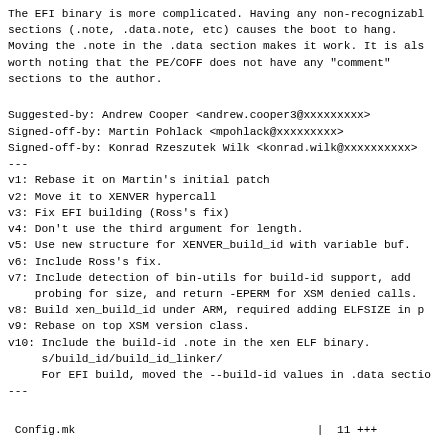The EFI binary is more complicated. Having any non-recognizable sections (.note, .data.note, etc) causes the boot to hang. Moving the .note in the .data section makes it work. It is also worth noting that the PE/COFF does not have any "comment" sections to the author.
Suggested-by: Andrew Cooper <andrew.cooper3@xxxxxxxxx>
Signed-off-by: Martin Pohlack <mpohlack@xxxxxxxxx>
Signed-off-by: Konrad Rzeszutek Wilk <konrad.wilk@xxxxxxxxxx>
---
v1: Rebase it on Martin's initial patch
v2: Move it to XENVER hypercall
v3: Fix EFI building (Ross's fix)
v4: Don't use the third argument for length.
v5: Use new structure for XENVER_build_id with variable buf.
v6: Include Ross's fix.
v7: Include detection of bin-utils for build-id support, add
    probing for size, and return -EPERM for XSM denied calls.
v8: Build xen_build_id under ARM, required adding ELFSIZE in p
v9: Rebase on top XSM version class.
v10: Include the build-id .note in the xen ELF binary.
     s/build_id/build_id_linker/
     For EFI build, moved the --build-id values in .data sectio
---
Config.mk                                    |  11 +++